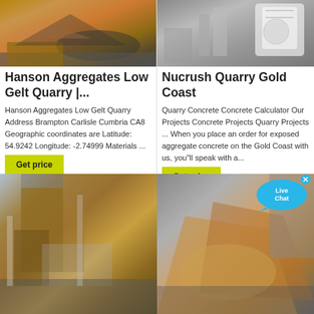[Figure (photo): Outdoor quarry site with sand/gravel mound and red-orange earth, top-left]
[Figure (photo): Indoor industrial quarry machinery with large crusher equipment, top-right]
Hanson Aggregates Low Gelt Quarry |...
Hanson Aggregates Low Gelt Quarry Address Brampton Carlisle Cumbria CA8 Geographic coordinates are Latitude: 54.9242 Longitude: -2.74999 Materials ...
Nucrush Quarry Gold Coast
Quarry Concrete Concrete Calculator Our Projects Concrete Projects Quarry Projects ... When you place an order for exposed aggregate concrete on the Gold Coast with us, you"ll speak with a...
[Figure (other): Live Chat bubble overlay]
[Figure (photo): Industrial quarry processing plant structure, bottom-left]
[Figure (photo): Quarry conveyor and aggregate pile, bottom-right]